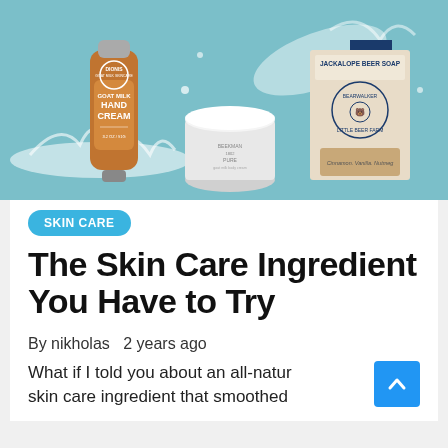[Figure (photo): Product photo on teal/mint background featuring three skin care products: a Dionis Goat Milk Hand Cream tube (orange/brown), a white cream jar (Beekman 1802 Pure), and a Jackalope Beer Soap box from Little Beer Farm with cinnamon vanilla nutmeg text.]
SKIN CARE
The Skin Care Ingredient You Have to Try
By nikholas   2 years ago
What if I told you about an all-natural skin care ingredient that smoothed